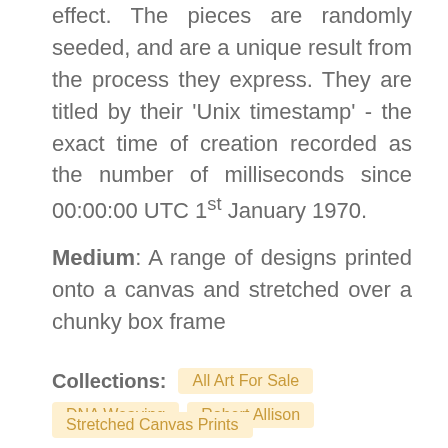effect. The pieces are randomly seeded, and are a unique result from the process they express. They are titled by their 'Unix timestamp' - the exact time of creation recorded as the number of milliseconds since 00:00:00 UTC 1st January 1970.
Medium: A range of designs printed onto a canvas and stretched over a chunky box frame
Collections: All Art For Sale  DNA Weaving  Robert Allison  Stretched Canvas Prints